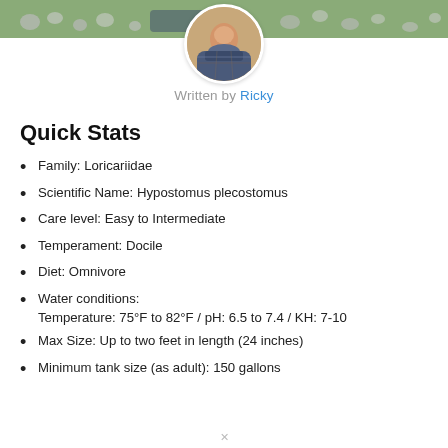[Figure (photo): Banner photo of rocks/pebbles background with nature scene]
[Figure (photo): Circular avatar photo of a man in a plaid shirt smiling]
Written by Ricky
Quick Stats
Family: Loricariidae
Scientific Name: Hypostomus plecostomus
Care level: Easy to Intermediate
Temperament: Docile
Diet: Omnivore
Water conditions: Temperature: 75°F to 82°F / pH: 6.5 to 7.4 / KH: 7-10
Max Size: Up to two feet in length (24 inches)
Minimum tank size (as adult): 150 gallons